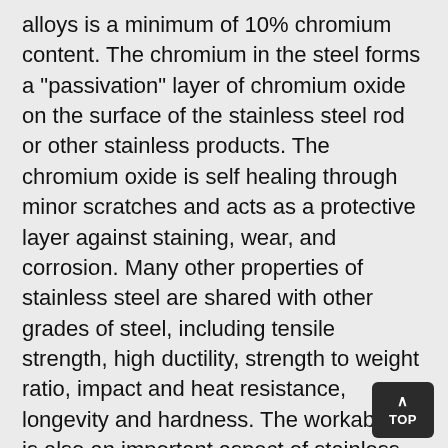alloys is a minimum of 10% chromium content. The chromium in the steel forms a "passivation" layer of chromium oxide on the surface of the stainless steel rod or other stainless products. The chromium oxide is self healing through minor scratches and acts as a protective layer against staining, wear, and corrosion. Many other properties of stainless steel are shared with other grades of steel, including tensile strength, high ductility, strength to weight ratio, impact and heat resistance, longevity and hardness. The workability is also an important aspect of stainless steel rods as it results in their potential to be used in countless applications. To begin with though, the iron ore alloy is heated in electric arc furnaces until it reaches the point of recrystallization